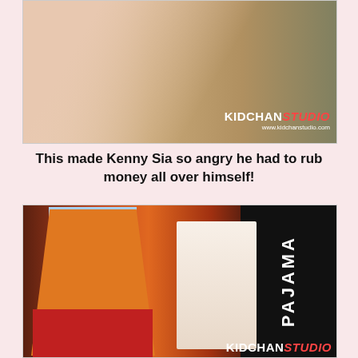[Figure (photo): Photo of people at a party event with KIDCHAN STUDIO watermark, showing people in front of a backdrop. Website www.kidchanstudio.com shown.]
This made Kenny Sia so angry he had to rub money all over himself!
[Figure (photo): Photo of a man in orange shirt rubbing money/papers on his face at a Pajama Party event with nang blog advertising banner visible. A woman laughs beside him. KIDCHAN STUDIO watermark at bottom right.]